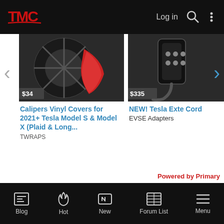TMC — Log in
[Figure (screenshot): Product carousel showing two Tesla accessory products: Calipers Vinyl Covers for 2021+ Tesla Model S & Model X (Plaid & Long...) priced at $34, and NEW! Tesla Extension Cord priced at $335. Navigation arrows on left and right. Powered by Primary text bottom right.]
Calipers Vinyl Covers for 2021+ Tesla Model S & Model X (Plaid & Long...
TWRAPS
NEW! Tesla Extension Cord
EVSE Adapters
Powered by Primary
Share:
< Electric Vehicles
Blog | Hot | New | Forum List | Menu